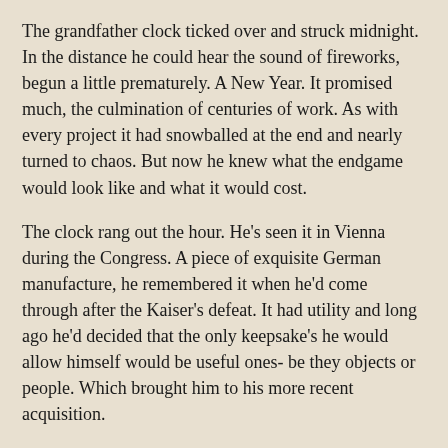The grandfather clock ticked over and struck midnight. In the distance he could hear the sound of fireworks, begun a little prematurely. A New Year. It promised much, the culmination of centuries of work. As with every project it had snowballed at the end and nearly turned to chaos. But now he knew what the endgame would look like and what it would cost.
The clock rang out the hour. He's seen it in Vienna during the Congress. A piece of exquisite German manufacture, he remembered it when he'd come through after the Kaiser's defeat. It had utility and long ago he'd decided that the only keepsake's he would allow himself would be useful ones- be they objects or people. Which brought him to his more recent acquisition.
He moved to the chamber and carefully adjusted the gauges. His large hands inputted the dozen codes needs to activate the device and then the dozen more necessary to modify the failsafes. The mirrored interior of the device glowed and then a form coalesced. It formed into a ragged man who shook with rage. “NOT THIS TIME…” He